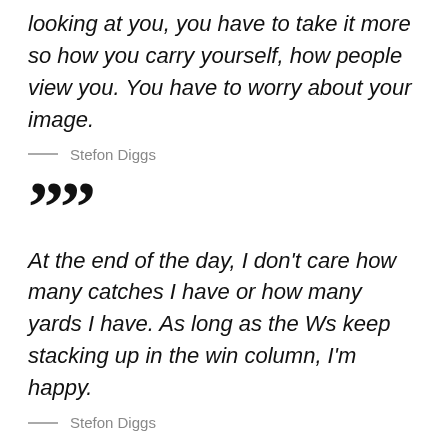looking at you, you have to take it more so how you carry yourself, how people view you. You have to worry about your image.
— Stefon Diggs
””
At the end of the day, I don’t care how many catches I have or how many yards I have. As long as the Ws keep stacking up in the win column, I’m happy.
— Stefon Diggs
””
At the end of the day...